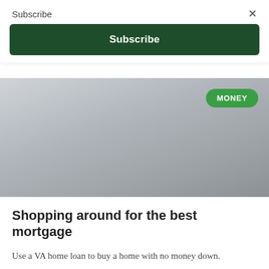Subscribe
×
Subscribe
[Figure (photo): Gray gradient image placeholder for article about shopping for the best mortgage, with a green 'MONEY' badge in the top right corner.]
Shopping around for the best mortgage
Use a VA home loan to buy a home with no money down.